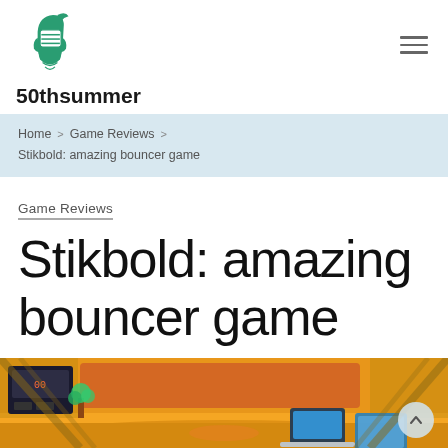[Figure (logo): Knight helmet logo in teal/green color for 50thsummer website]
50thsummer
Home > Game Reviews > Stikbold: amazing bouncer game
Game Reviews
Stikbold: amazing bouncer game
[Figure (illustration): Colorful game scene showing a dodgeball court with cartoon-style characters, scoreboards, and game equipment on a yellow/orange background]